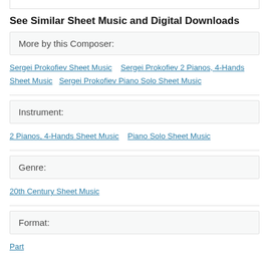See Similar Sheet Music and Digital Downloads
More by this Composer:
Sergei Prokofiev Sheet Music
Sergei Prokofiev 2 Pianos, 4-Hands Sheet Music
Sergei Prokofiev Piano Solo Sheet Music
Instrument:
2 Pianos, 4-Hands Sheet Music
Piano Solo Sheet Music
Genre:
20th Century Sheet Music
Format:
Part